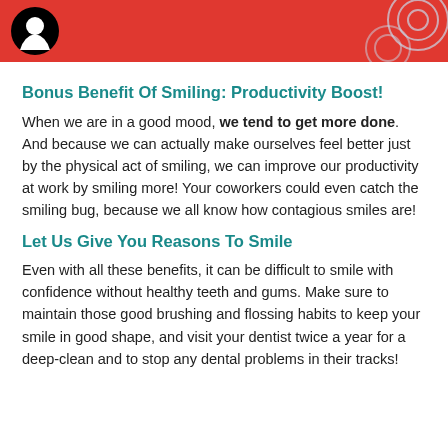[Figure (logo): Red header bar with PBS logo (person head icon in black circle) on left, and decorative circular outlines on right]
Bonus Benefit Of Smiling: Productivity Boost!
When we are in a good mood, we tend to get more done. And because we can actually make ourselves feel better just by the physical act of smiling, we can improve our productivity at work by smiling more! Your coworkers could even catch the smiling bug, because we all know how contagious smiles are!
Let Us Give You Reasons To Smile
Even with all these benefits, it can be difficult to smile with confidence without healthy teeth and gums. Make sure to maintain those good brushing and flossing habits to keep your smile in good shape, and visit your dentist twice a year for a deep-clean and to stop any dental problems in their tracks!